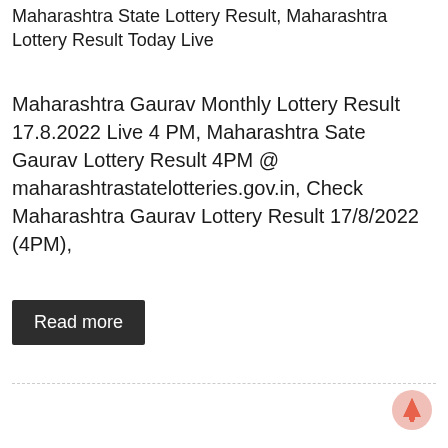Maharashtra State Lottery Result, Maharashtra Lottery Result Today Live
Maharashtra Gaurav Monthly Lottery Result 17.8.2022 Live 4 PM, Maharashtra Sate Gaurav Lottery Result 4PM @ maharashtrastatelotteries.gov.in, Check Maharashtra Gaurav Lottery Result 17/8/2022 (4PM),
Read more